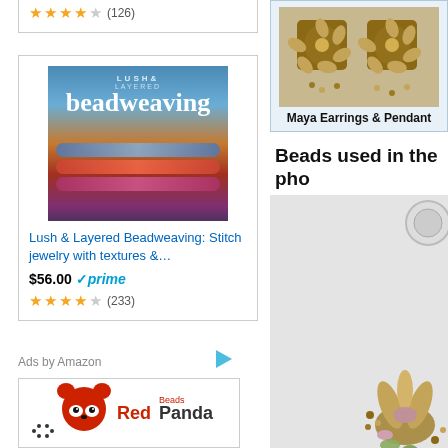[Figure (other): Star rating showing approximately 4 stars with (126) reviews, partially visible at top of left column]
[Figure (other): Amazon product ad for 'Lush & Layered Beadweaving: Stitch jewelry with textures &...' book cover showing colorful beaded bracelets]
Lush & Layered Beadweaving: Stitch jewelry with textures &...
$56.00 ✓prime
(233) star rating
Ads by Amazon
[Figure (logo): Red Panda Beads logo with red panda animal illustration and dotted text 'RedPanda Beads']
[Figure (photo): Maya Earrings & Pendant jewelry photo showing beaded earrings in bronze/gold tones]
Maya Earrings & Pendant
Beads used in the pho
[Figure (photo): Photo of beaded jewelry piece partially visible, on light gray background]